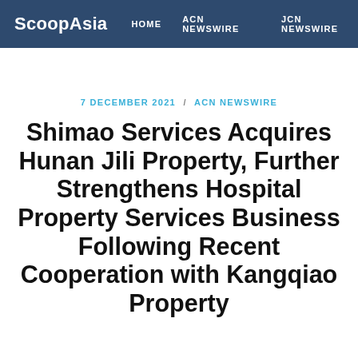ScoopAsia  HOME  ACN NEWSWIRE  JCN NEWSWIRE
7 DECEMBER 2021 / ACN NEWSWIRE
Shimao Services Acquires Hunan Jili Property, Further Strengthens Hospital Property Services Business Following Recent Cooperation with Kangqiao Property